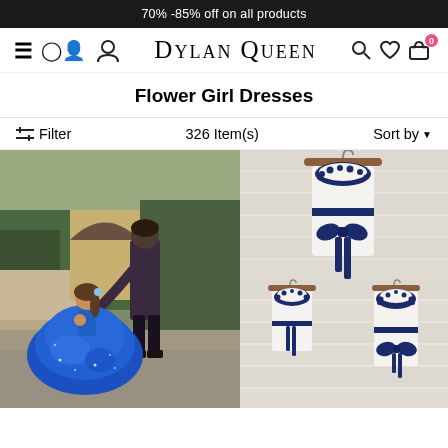70% -85% off on all products
DYLAN QUEEN
Flower Girl Dresses
Filter   326 Item(s)   Sort by
[Figure (photo): A man bending down to a little girl wearing a royal blue ballgown flower girl dress outdoors]
[Figure (photo): White flower girl dress with navy blue lace collar and navy sash bow, hanging on a wooden hanger]
[Figure (photo): White flower girl dress with navy blue lace collar and navy sash, hanging on a wooden hanger - smaller top view]
[Figure (photo): White flower girl dress with navy blue lace collar and navy sash, hanging on a wooden hanger - smaller bottom view]